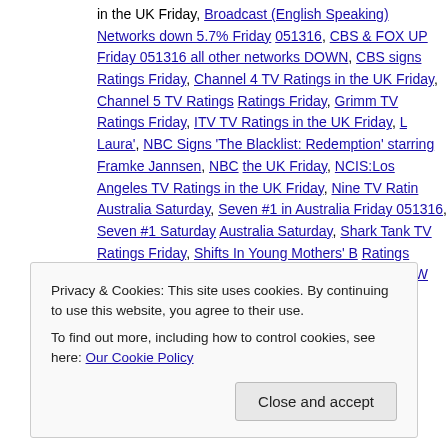in the UK Friday, Broadcast (English Speaking) Networks down 5.7% Friday 051316, CBS & FOX UP Friday 051316 all other networks DOWN, CBS signs Ratings Friday, Channel 4 TV Ratings in the UK Friday, Channel 5 TV Ratings Ratings Friday, Grimm TV Ratings Friday, ITV TV Ratings in the UK Friday, Laura', NBC Signs 'The Blacklist: Redemption' starring Framke Jannsen, NBC the UK Friday, NCIS:Los Angeles TV Ratings in the UK Friday, Nine TV Ratings Australia Saturday, Seven #1 in Australia Friday 051316, Seven #1 Saturday Australia Saturday, Shark Tank TV Ratings Friday, Shifts In Young Mothers' B Ratings Friday, Ten TV Ratings in Australia Saturday, The CW TV Ratings Friday Types of Marketing Messages Do Women Prefer? | Leave a comment
Privacy & Cookies: This site uses cookies. By continuing to use this website, you agree to their use.
To find out more, including how to control cookies, see here: Our Cookie Policy